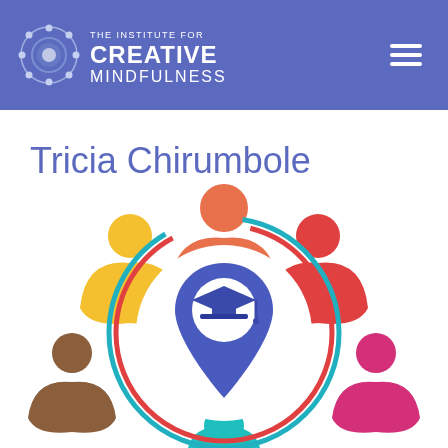THE INSTITUTE FOR CREATIVE MINDFULNESS
Tricia Chirumbole
[Figure (illustration): Colorful illustration of diverse people icons arranged in a circle around a central graduation cap location pin symbol. Figures shown in orange (top center), red (top right), pink (bottom right), brown (bottom left), yellow/gold (top left), and teal (bottom center). Center features a blue map pin with a white circle containing a graduation cap icon. Two red and teal concentric arcs form a ring around the center pin.]